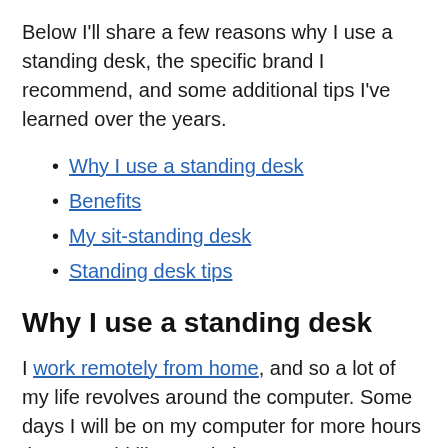Below I’ll share a few reasons why I use a standing desk, the specific brand I recommend, and some additional tips I’ve learned over the years.
Why I use a standing desk
Benefits
My sit-standing desk
Standing desk tips
Why I use a standing desk
I work remotely from home, and so a lot of my life revolves around the computer. Some days I will be on my computer for more hours than I would like to admit.